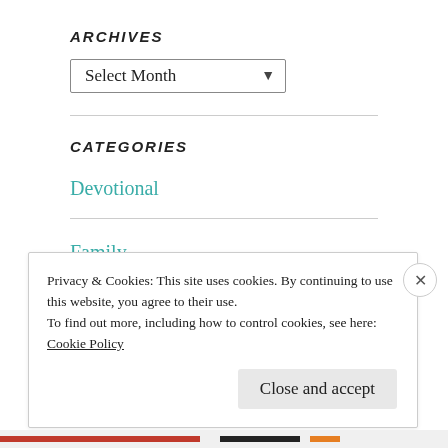ARCHIVES
Select Month
CATEGORIES
Devotional
Family
Privacy & Cookies: This site uses cookies. By continuing to use this website, you agree to their use.
To find out more, including how to control cookies, see here:
Cookie Policy
Close and accept